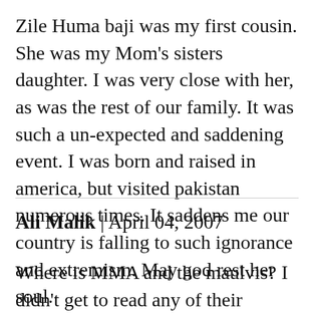Zile Huma baji was my first cousin. She was my Mom's sisters daughter. I was very close with her, as was the rest of our family. It was such a un-expected and saddening event. I was born and raised in america, but visited pakistan numerous times. It saddens me our country is falling to such ignorance and extremism. May god rest her soul.
Ali Malik | April 04, 2007
Where is MMA and the maulvis? I didn't get to read any of their comments on this